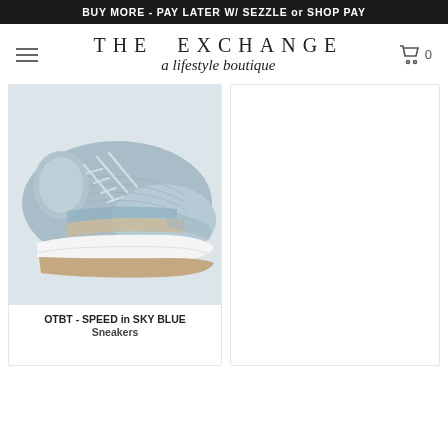BUY MORE - PAY LATER W/ SEZZLE or SHOP PAY
[Figure (logo): The Exchange - a lifestyle boutique logo with hamburger menu icon and cart icon showing 0 items]
[Figure (photo): Light blue knit sneaker with white sole and beige stripe accent, lace-up style, OTBT brand]
OTBT - SPEED in SKY BLUE
Sneakers